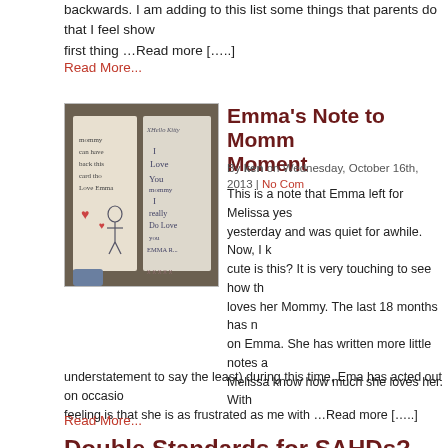backwards. I am adding to this list some things that parents do that I feel show first thing …Read more […..]
Read More...
Emma's Note to Mommy is a Precious Moment
By ken on Wednesday, October 16th, 2013 | No Comments
[Figure (photo): Photo of handwritten notes from Emma to Mommy on two pieces of paper, decorated with hearts and x marks]
This is a note that Emma left for Melissa yesterday and was quiet for awhile. Now, I k cute is this? It is very touching to see how th loves her Mommy. The last 18 months has n on Emma. She has written more little notes a Melissa know how much she loves her. With understatement to say the least) during this time, Ema has acted out on occasion feeling is that she is as frustrated as me with …Read more […..]
Read More...
Double Standards for SAHDs?
By ken on Sunday, July 21st, 2013 | 1 Comment
I have been saying this for years. Glad to see that it is finally being addressed i
Read More...